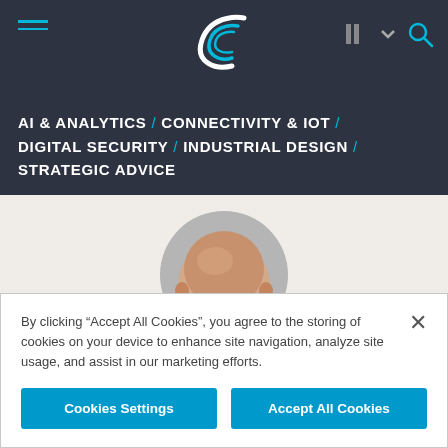AI & ANALYTICS / CONNECTIVITY & IOT / DIGITAL SECURITY / INDUSTRIAL DESIGN / STRATEGIC ADVICE
[Figure (photo): Top of a bald man's head, circular cropped profile photo on beige background]
By clicking “Accept All Cookies”, you agree to the storing of cookies on your device to enhance site navigation, analyze site usage, and assist in our marketing efforts.
Cookies Settings   Accept All Cookies